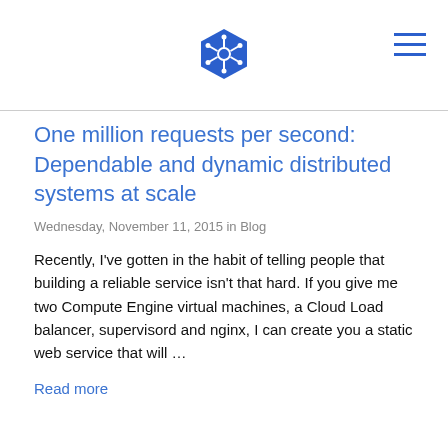Kubernetes logo and navigation menu
One million requests per second: Dependable and dynamic distributed systems at scale
Wednesday, November 11, 2015 in Blog
Recently, I've gotten in the habit of telling people that building a reliable service isn't that hard. If you give me two Compute Engine virtual machines, a Cloud Load balancer, supervisord and nginx, I can create you a static web service that will ...
Read more